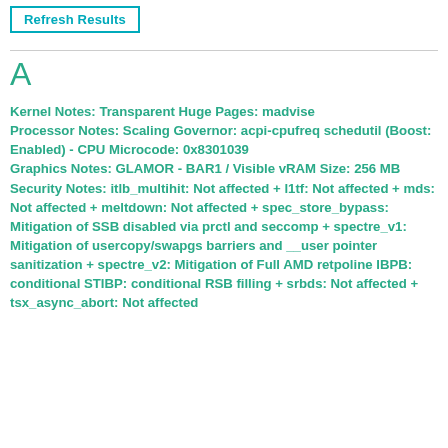[Figure (screenshot): Refresh Results button with teal border and text]
A
Kernel Notes: Transparent Huge Pages: madvise
Processor Notes: Scaling Governor: acpi-cpufreq schedutil (Boost: Enabled) - CPU Microcode: 0x8301039
Graphics Notes: GLAMOR - BAR1 / Visible vRAM Size: 256 MB
Security Notes: itlb_multihit: Not affected + l1tf: Not affected + mds: Not affected + meltdown: Not affected + spec_store_bypass: Mitigation of SSB disabled via prctl and seccomp + spectre_v1: Mitigation of usercopy/swapgs barriers and __user pointer sanitization + spectre_v2: Mitigation of Full AMD retpoline IBPB: conditional STIBP: conditional RSB filling + srbds: Not affected + tsx_async_abort: Not affected